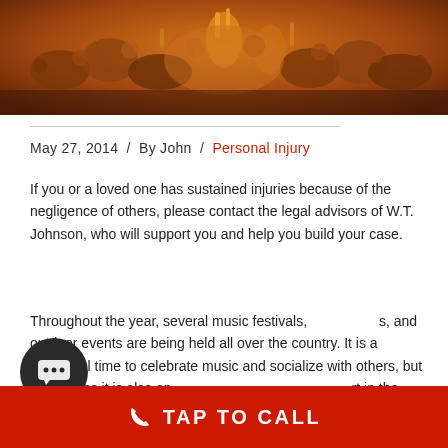[Figure (photo): Crowd at an outdoor music festival, people with hands raised, warm orange/golden lighting]
May 27, 2014  /  By John  /  Personal Injury
If you or a loved one has sustained injuries because of the negligence of others, please contact the legal advisors of W.T. Johnson, who will support you and help you build your case.
Throughout the year, several music festivals, concerts, and outdoor events are being held all over the country. It is a wonderful time to celebrate music and socialize with others, but sometimes it is also an opportunity to get hurt in the process. If you find yourself on the wrong side of the fence, take note of the following steps